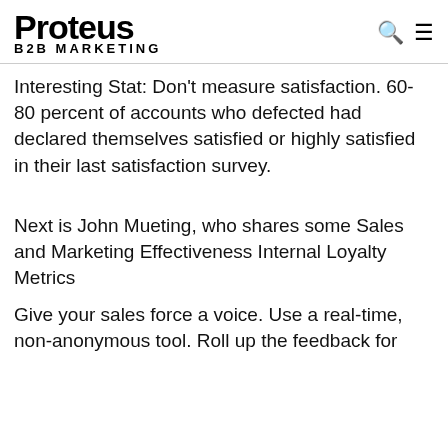Proteus B2B MARKETING
Interesting Stat: Don't measure satisfaction. 60-80 percent of accounts who defected had declared themselves satisfied or highly satisfied in their last satisfaction survey.
Next is John Mueting, who shares some Sales and Marketing Effectiveness Internal Loyalty Metrics
Give your sales force a voice. Use a real-time, non-anonymous tool. Roll up the feedback for analysis. Show the results to your sales and...